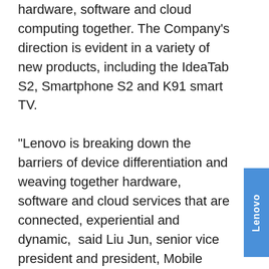hardware, software and cloud computing together. The Company's direction is evident in a variety of new products, including the IdeaTab S2, Smartphone S2 and K91 smart TV.

"Lenovo is breaking down the barriers of device differentiation and weaving together hardware, software and cloud services that are connected, experiential and dynamic,"  said Liu Jun, senior vice president and president, Mobile Internet and Digital Home business group. "We understand our users need more than just the traditional hardware alone...